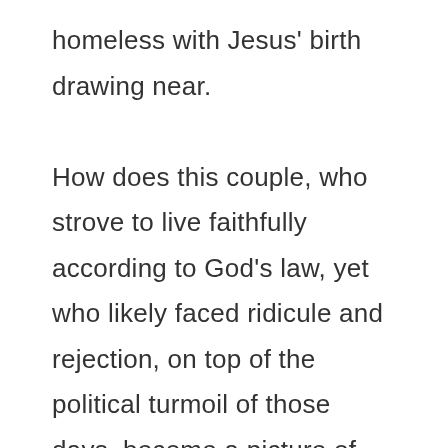homeless with Jesus' birth drawing near. How does this couple, who strove to live faithfully according to God's law, yet who likely faced ridicule and rejection, on top of the political turmoil of those days, become a picture of peace? They are a picture of peace through their obedience. They continued to submit themselves to God's plans, trusting Him, even when so much seemed wrong. Mary submitted to